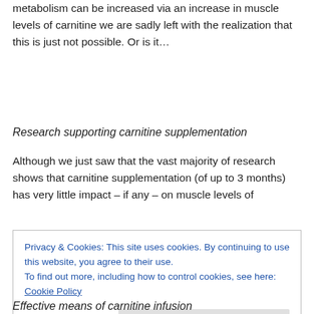metabolism can be increased via an increase in muscle levels of carnitine we are sadly left with the realization that this is just not possible. Or is it…
Research supporting carnitine supplementation
Although we just saw that the vast majority of research shows that carnitine supplementation (of up to 3 months) has very little impact – if any – on muscle levels of
Privacy & Cookies: This site uses cookies. By continuing to use this website, you agree to their use.
To find out more, including how to control cookies, see here: Cookie Policy
Effective means of carnitine infusion